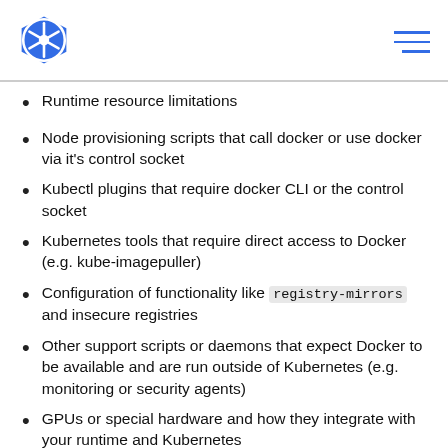Kubernetes logo and navigation menu
Runtime resource limitations
Node provisioning scripts that call docker or use docker via it's control socket
Kubectl plugins that require docker CLI or the control socket
Kubernetes tools that require direct access to Docker (e.g. kube-imagepuller)
Configuration of functionality like registry-mirrors and insecure registries
Other support scripts or daemons that expect Docker to be available and are run outside of Kubernetes (e.g. monitoring or security agents)
GPUs or special hardware and how they integrate with your runtime and Kubernetes